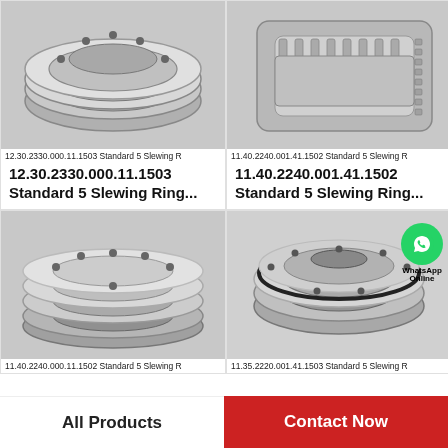[Figure (photo): Slewing ring bearing product photo, flat ring style, top-left product]
12.30.2330.000.11.1503 Standard 5 Slewing R
12.30.2330.000.11.1503
Standard 5 Slewing Ring...
[Figure (photo): Slewing ring bearing product photo, cylindrical roller style, top-right product]
11.40.2240.001.41.1502 Standard 5 Slewing R
11.40.2240.001.41.1502
Standard 5 Slewing Ring...
[Figure (photo): Slewing ring bearing product photo, stacked flat rings, bottom-left product]
11.40.2240.000.11.1502 Standard 5 Slewing R
[Figure (photo): Slewing ring bearing product photo, compact ring with seal, bottom-right product, with WhatsApp Online badge overlay]
11.35.2220.001.41.1503 Standard 5 Slewing R
All Products
Contact Now